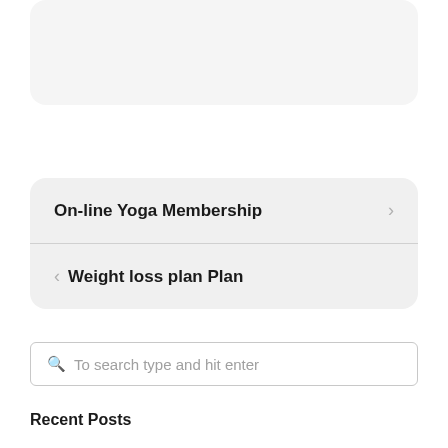[Figure (screenshot): Partially visible rounded card at top of page]
On-line Yoga Membership
Weight loss plan Plan
To search type and hit enter
Recent Posts